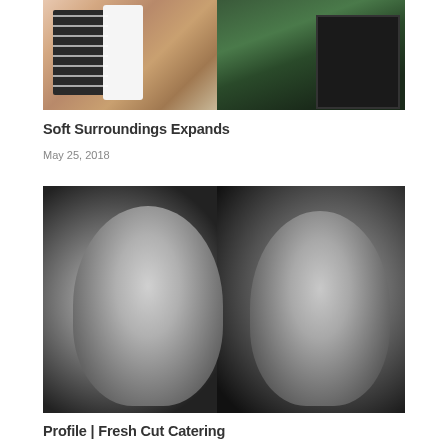[Figure (photo): Color photo showing fashion mannequins with clothing display and a storefront with green topiary]
Soft Surroundings Expands
May 25, 2018
[Figure (photo): Black and white professional portrait photo of two women in white chef coats, posed back-to-back]
Profile | Fresh Cut Catering